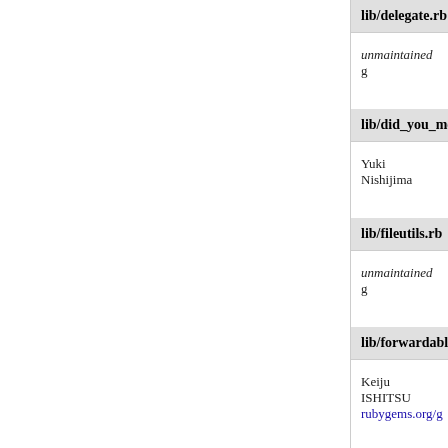lib/delegate.rb
unmaintained g
lib/did_you_mea…
Yuki Nishijima
lib/fileutils.rb
unmaintained g
lib/forwardable.…
Keiju ISHITSU
rubygems.org/g